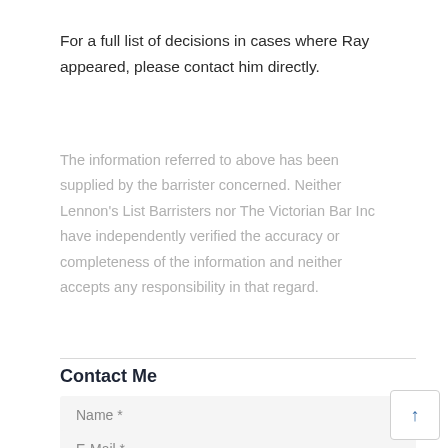For a full list of decisions in cases where Ray appeared, please contact him directly.
The information referred to above has been supplied by the barrister concerned. Neither Lennon's List Barristers nor The Victorian Bar Inc have independently verified the accuracy or completeness of the information and neither accepts any responsibility in that regard.
Contact Me
Name *
E-Mail *